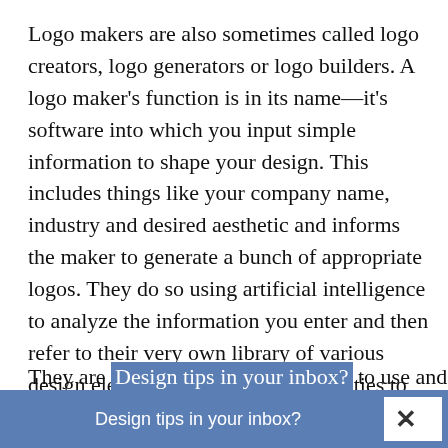Logo makers are also sometimes called logo creators, logo generators or logo builders. A logo maker's function is in its name—it's software into which you input simple information to shape your design. This includes things like your company name, industry and desired aesthetic and informs the maker to generate a bunch of appropriate logos. They do so using artificial intelligence to analyze the information you enter and then refer to their very own library of various design elements to give you possibilities to review.
They are generally very simple to use and [Design tips in your inbox?]